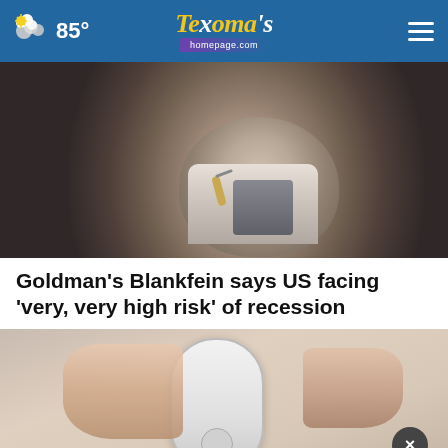85° Texoma's homepage.com
[Figure (photo): Close-up photo of a man's face wearing a earpiece microphone, appearing to speak at an event]
Goldman's Blankfein says US facing 'very, very high risk' of recession
[Figure (photo): Hand holding a small white dome-shaped device, with an advertisement overlay for in-store shopping]